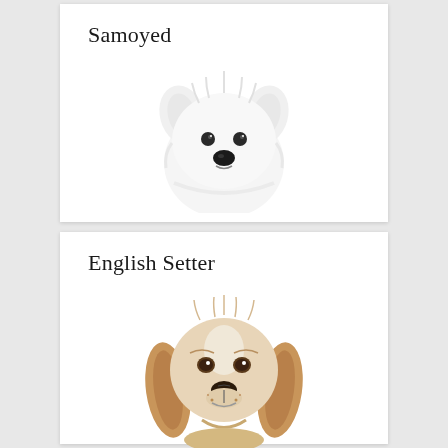Samoyed
[Figure (photo): Close-up photo of a white fluffy Samoyed dog face looking at the camera against a white background]
English Setter
[Figure (photo): Close-up photo of an English Setter dog face with golden/tan and white fur, looking at the camera against a white background]